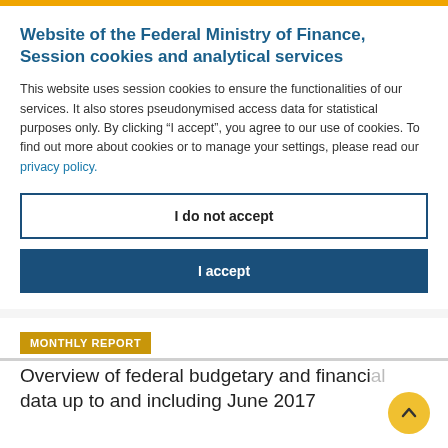Website of the Federal Ministry of Finance, Session cookies and analytical services
This website uses session cookies to ensure the functionalities of our services. It also stores pseudonymised access data for statistical purposes only. By clicking “I accept”, you agree to our use of cookies. To find out more about cookies or to manage your settings, please read our privacy policy.
I do not accept
I accept
MONTHLY REPORT
Overview of federal budgetary and financial data up to and including June 2017